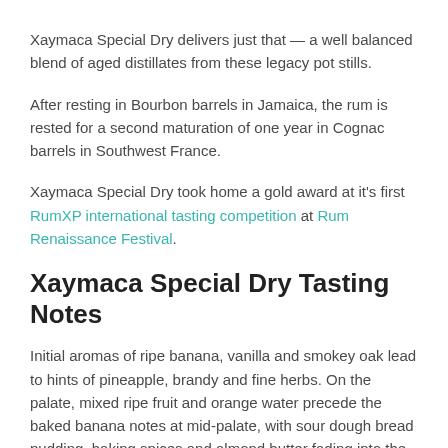Xaymaca Special Dry delivers just that — a well balanced blend of aged distillates from these legacy pot stills.
After resting in Bourbon barrels in Jamaica, the rum is rested for a second maturation of one year in Cognac barrels in Southwest France.
Xaymaca Special Dry took home a gold award at it's first RumXP international tasting competition at Rum Renaissance Festival.
Xaymaca Special Dry Tasting Notes
Initial aromas of ripe banana, vanilla and smokey oak lead to hints of pineapple, brandy and fine herbs. On the palate, mixed ripe fruit and orange water precede the baked banana notes at mid-palate, with sour dough bread pudding, baking spices and almond butter fading into the medium warm finish.